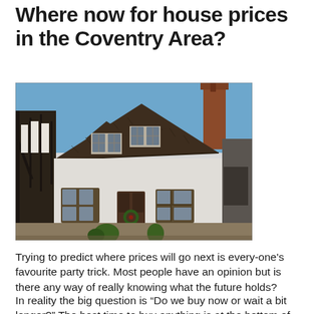Where now for house prices in the Coventry Area?
[Figure (photo): Photograph of a traditional English Tudor-style white and timber-framed cottage/house with dormer windows and a dark tiled roof, photographed on a clear blue sky day.]
Trying to predict where prices will go next is every-one's favourite party trick. Most people have an opinion but is there any way of really knowing what the future holds?
In reality the big question is “Do we buy now or wait a bit longer?” The best time to buy anything is at the bottom of the market and property is no different. Trying to forecast the